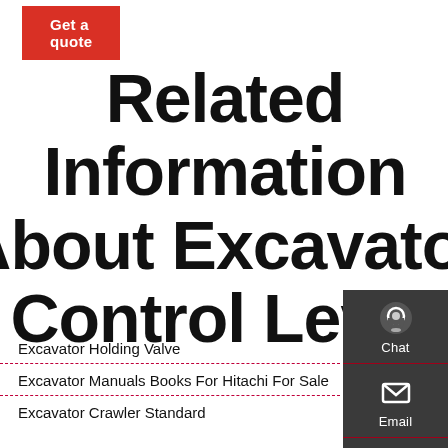[Figure (screenshot): Red 'Get a quote' button in top left]
Related Information About Excavator Control Lever
[Figure (infographic): Dark sidebar with Chat (headset icon), Email (envelope icon), and Contact (speech bubble icon) buttons]
Excavator Holding Valve
Excavator Manuals Books For Hitachi For Sale
Excavator Crawler Standard